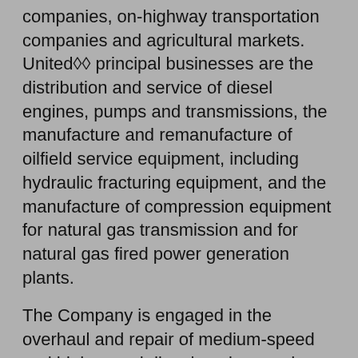companies, on-highway transportation companies and agricultural markets. Unitedï¿½ï¿½ principal businesses are the distribution and service of diesel engines, pumps and transmissions, the manufacture and remanufacture of oilfield service equipment, including hydraulic fracturing equipment, and the manufacture of compression equipment for natural gas transmission and for natural gas fired power generation plants.
The Company is engaged in the overhaul and repair of medium-speed and high-speed diesel engines and reduction gears, line boring, block welding services and related parts sales for customers in the marine industry. The Company services medium-speed and high-speed diesel engines utilized in the inland and offshore barge industries. It also services marine equipment and offshore drilling equipment used in the offshore petroleum exploration and oil service industry, marine equipment used in the offshore commercial fishing industry and vessels owned by the United States government. The Company has marine operations throughout the United States providing in-house and in-field repair capabilities and related parts sales. The medium-